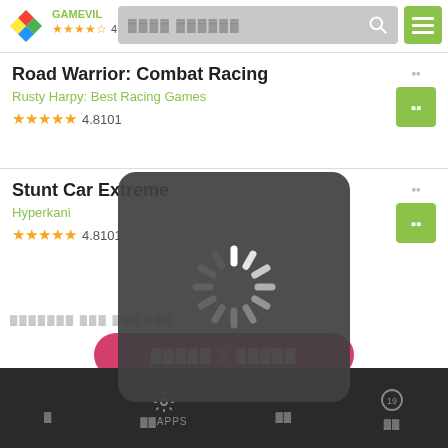[Figure (screenshot): Mobile app store screenshot showing search results for racing games with a loading spinner overlay. Contains app listings for 'Road Warrior: Combat Racing' by Rusty Harpy: Best Racing Games (4.8101 stars) and 'Stunt Car Extreme' by Hyperkani (4.8101 stars). A dark rounded rectangle loading overlay with a spinning indicator covers the Stunt Car Extreme listing. Bottom shows action area with pink button and dark navigation bar.]